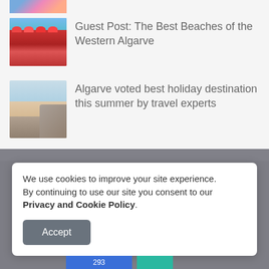[Figure (photo): Partial cropped top image, colorful beach/tropical scene]
[Figure (photo): Beach cafe with colorful umbrellas and red chairs]
Guest Post: The Best Beaches of the Western Algarve
[Figure (photo): Sandy beach with rocks and sea, Algarve]
Algarve voted best holiday destination this summer by travel experts
We use cookies to improve your site experience.
By continuing to use our site you consent to our Privacy and Cookie Policy.
Accept